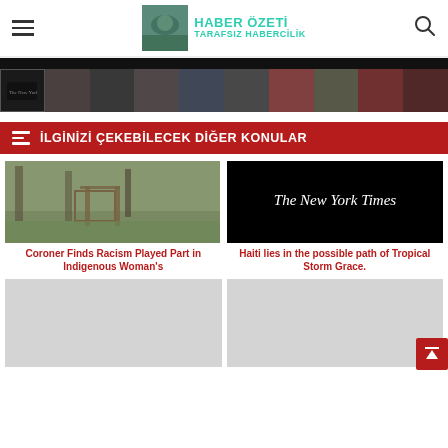[Figure (screenshot): Website header with hamburger menu, Haber Özeti logo with teal text 'HABER ÖZETİ TARAFSIZ HABERCİLİK' and search icon]
[Figure (screenshot): Black navigation bar with thumbnail strip of 10 news images]
İLGİNİZİ ÇEKEBİLECEK DİĞER KONULAR
[Figure (photo): Outdoor forest/grave scene with wooden structure]
Coroner Finds Racism Played Part in Indigenous Woman's
[Figure (logo): The New York Times logo on black background]
Haiti lies in the possible path of Tropical Storm Grace.
[Figure (photo): Gray placeholder image (bottom left)]
[Figure (photo): Gray placeholder image (bottom right)]